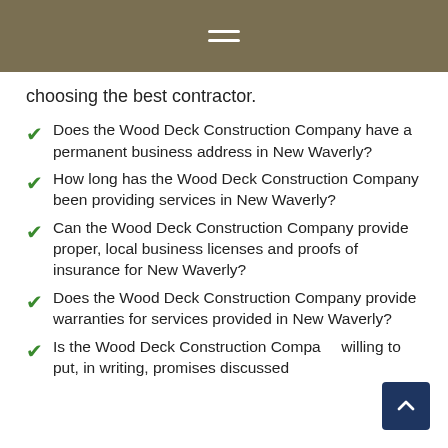≡
choosing the best contractor.
Does the Wood Deck Construction Company have a permanent business address in New Waverly?
How long has the Wood Deck Construction Company been providing services in New Waverly?
Can the Wood Deck Construction Company provide proper, local business licenses and proofs of insurance for New Waverly?
Does the Wood Deck Construction Company provide warranties for services provided in New Waverly?
Is the Wood Deck Construction Company willing to put, in writing, promises discussed